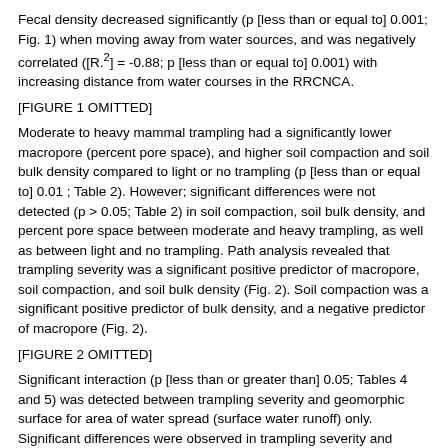Fecal density decreased significantly (p [less than or equal to] 0.001; Fig. 1) when moving away from water sources, and was negatively correlated ([R.sup.2] = -0.88; p [less than or equal to] 0.001) with increasing distance from water courses in the RRCNCA.
[Figure (other): [FIGURE 1 OMITTED]]
Moderate to heavy mammal trampling had a significantly lower macropore (percent pore space), and higher soil compaction and soil bulk density compared to light or no trampling (p [less than or equal to] 0.01 ; Table 2). However; significant differences were not detected (p > 0.05; Table 2) in soil compaction, soil bulk density, and percent pore space between moderate and heavy trampling, as well as between light and no trampling. Path analysis revealed that trampling severity was a significant positive predictor of macropore, soil compaction, and soil bulk density (Fig. 2). Soil compaction was a significant positive predictor of bulk density, and a negative predictor of macropore (Fig. 2).
[Figure (other): [FIGURE 2 OMITTED]]
Significant interaction (p [less than or greater than] 0.05; Tables 4 and 5) was detected between trampling severity and geomorphic surface for area of water spread (surface water runoff) only. Significant differences were observed in trampling severity and geomorphic surface for all measured soil moisture variables.
Discussion
Excessive trampling by large mammals significantly altered a number of soil properties and moisture characteristics in Coleogyne shrublands of the